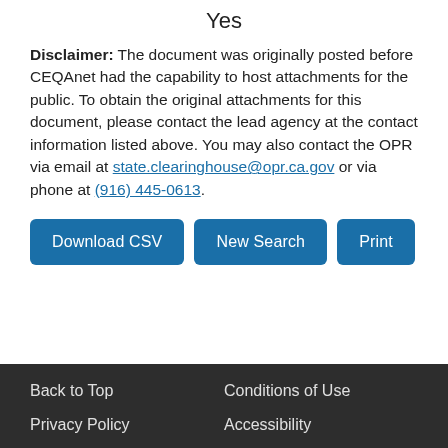Yes
Disclaimer: The document was originally posted before CEQAnet had the capability to host attachments for the public. To obtain the original attachments for this document, please contact the lead agency at the contact information listed above. You may also contact the OPR via email at state.clearinghouse@opr.ca.gov or via phone at (916) 445-0613.
Back to Top   Conditions of Use   Privacy Policy   Accessibility